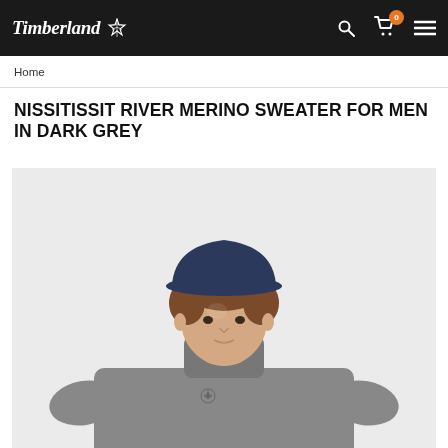Timberland
Home
NISSITISSIT RIVER MERINO SWEATER FOR MEN IN DARK GREY
[Figure (photo): A man wearing a dark grey merino turtleneck sweater and a navy bucket hat, photographed against a light grey background. The Timberland logo is visible on the chest of the sweater.]